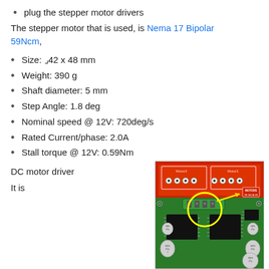plug the stepper motor drivers
The stepper motor that is used, is Nema 17 Bipolar 59Ncm,
Size: ⌐42 x 48 mm
Weight: 390 g
Shaft diameter: 5 mm
Step Angle: 1.8 deg
Nominal speed @ 12V: 720deg/s
Rated Current/phase: 2.0A
Stall torque @ 12V: 0.59Nm
DC motor driver
It is
[Figure (photo): Photo of a green PCB motor driver board with red top plate showing motor terminal connectors (Motor2 and Motor1 labeled), screw terminals, capacitors, ICs, and a yellow circle highlighting a component area with an arrow pointing to MOTORS pins labeled 2B 2A 1A 1B]